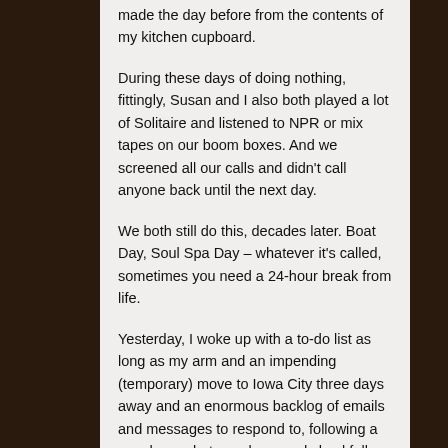made the day before from the contents of my kitchen cupboard.
During these days of doing nothing, fittingly, Susan and I also both played a lot of Solitaire and listened to NPR or mix tapes on our boom boxes. And we screened all our calls and didn't call anyone back until the next day.
We both still do this, decades later. Boat Day, Soul Spa Day – whatever it's called, sometimes you need a 24-hour break from life.
Yesterday, I woke up with a to-do list as long as my arm and an impending (temporary) move to Iowa City three days away and an enormous backlog of emails and messages to respond to, following a very happy but very busy and chockfull summer of work and travel and activity and interviews and family visiting and deadlines.